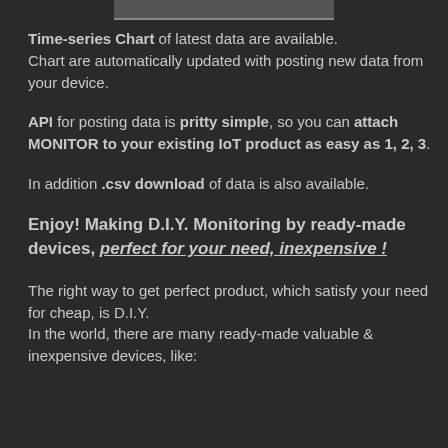Time-series Chart of latest data are available. Chart are automatically updated with posting new data from your device.
API for posting data is pritty simple, so you can attach MONITOR to your existing IoT product as easy as 1, 2, 3.
In addition .csv download of data is also available.
Enjoy! Making D.I.Y. Monitoring by ready-made devices, perfect for your need, inexpensive !
The right way to get perfect product, which satisfy your need for cheap, is D.I.Y.
In the world, there are many ready-made valuable & inexpensive devices, like: